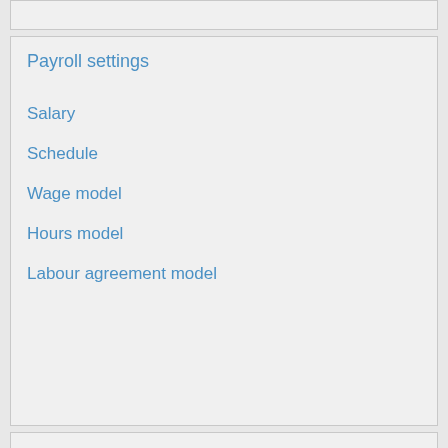Payroll settings
Salary
Schedule
Wage model
Hours model
Labour agreement model
Workflow
Introduction to Workflow